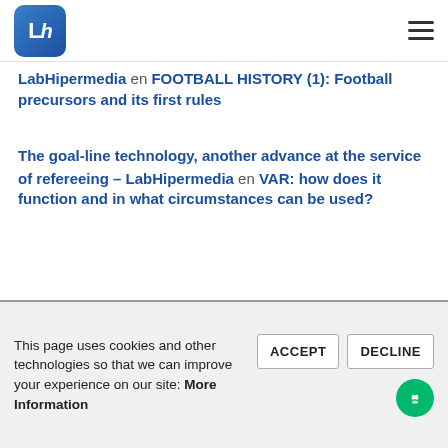Lh [logo] [hamburger menu]
LabHipermedia en FOOTBALL HISTORY (1): Football precursors and its first rules
The goal-line technology, another advance at the service of refereeing – LabHipermedia en VAR: how does it function and in what circumstances can be used?
FOOTBALL HISTORY (2): Sheffield, the FA CUP and the beginning of refereeing – LabHipermedia en
This page uses cookies and other technologies so that we can improve your experience on our site: More Information